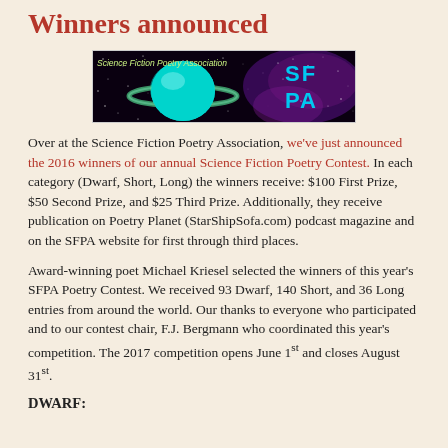Winners announced
[Figure (illustration): Science Fiction Poetry Association banner with a planet (Saturn-like) on starfield background, SFPA logo in cyan text on the right]
Over at the Science Fiction Poetry Association, we've just announced the 2016 winners of our annual Science Fiction Poetry Contest. In each category (Dwarf, Short, Long) the winners receive: $100 First Prize, $50 Second Prize, and $25 Third Prize. Additionally, they receive publication on Poetry Planet (StarShipSofa.com) podcast magazine and on the SFPA website for first through third places.
Award-winning poet Michael Kriesel selected the winners of this year's SFPA Poetry Contest. We received 93 Dwarf, 140 Short, and 36 Long entries from around the world. Our thanks to everyone who participated and to our contest chair, F.J. Bergmann who coordinated this year's competition. The 2017 competition opens June 1st and closes August 31st.
DWARF: